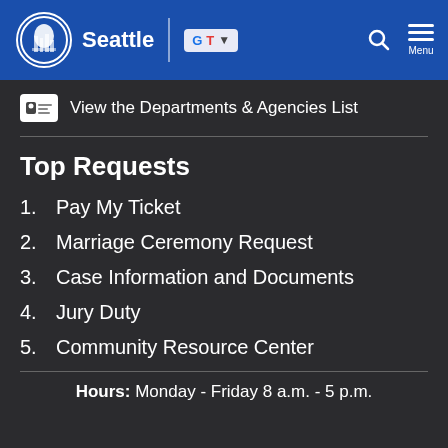Seattle
View the Departments & Agencies List
Top Requests
1. Pay My Ticket
2. Marriage Ceremony Request
3. Case Information and Documents
4. Jury Duty
5. Community Resource Center
Hours: Monday - Friday 8 a.m. - 5 p.m.